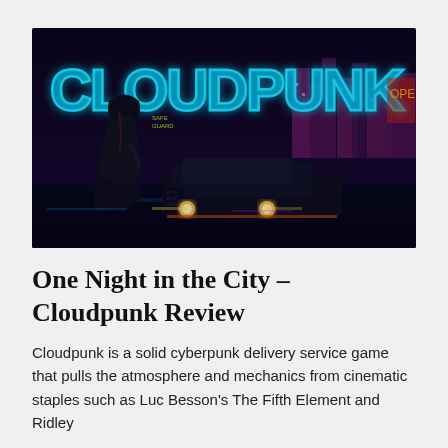[Figure (illustration): Cyberpunk game cover art showing a cloaked female figure standing next to a dark futuristic vehicle, with large neon blue letters spelling CLOUDPUNK in the background, set against a neon-lit city skyline at night.]
One Night in the City – Cloudpunk Review
Cloudpunk is a solid cyberpunk delivery service game that pulls the atmosphere and mechanics from cinematic staples such as Luc Besson's The Fifth Element and Ridley